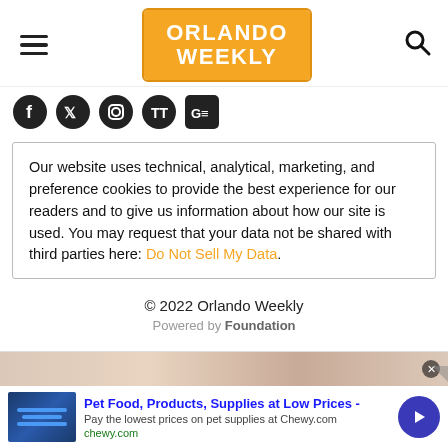[Figure (logo): Orlando Weekly logo — white bold text on orange rectangle background with border]
[Figure (other): Social media icons: Facebook, Twitter, Instagram, TikTok, Google News]
Our website uses technical, analytical, marketing, and preference cookies to provide the best experience for our readers and to give us information about how our site is used. You may request that your data not be shared with third parties here: Do Not Sell My Data.
© 2022 Orlando Weekly
Powered by Foundation
[Figure (other): Advertisement banner for Chewy.com: Pet Food, Products, Supplies at Low Prices - Pay the lowest prices on pet supplies at Chewy.com]